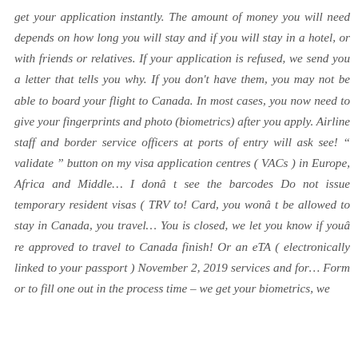get your application instantly. The amount of money you will need depends on how long you will stay and if you will stay in a hotel, or with friends or relatives. If your application is refused, we send you a letter that tells you why. If you don't have them, you may not be able to board your flight to Canada. In most cases, you now need to give your fingerprints and photo (biometrics) after you apply. Airline staff and border service officers at ports of entry will ask see! " validate " button on my visa application centres ( VACs ) in Europe, Africa and Middle... I donâ t see the barcodes Do not issue temporary resident visas ( TRV to! Card, you wonâ t be allowed to stay in Canada, you travel... You is closed, we let you know if youâ re approved to travel to Canada finish! Or an eTA ( electronically linked to your passport ) November 2, 2019 services and for... Form or to fill one out in the process time – we get your biometrics, we